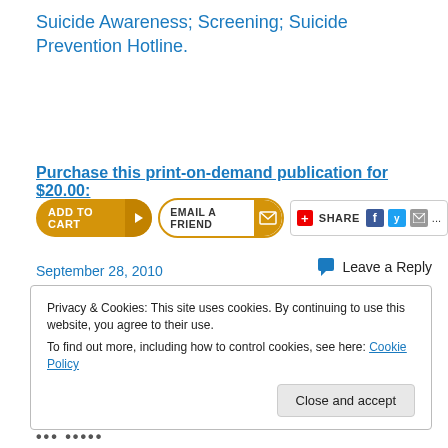Suicide Awareness; Screening; Suicide Prevention Hotline.
Purchase this print-on-demand publication for $20.00:
[Figure (other): Add to Cart button, Email a Friend button, and Share widget with Facebook, Twitter, email icons]
September 28, 2010
Leave a Reply
Privacy & Cookies: This site uses cookies. By continuing to use this website, you agree to their use.
To find out more, including how to control cookies, see here: Cookie Policy
Close and accept